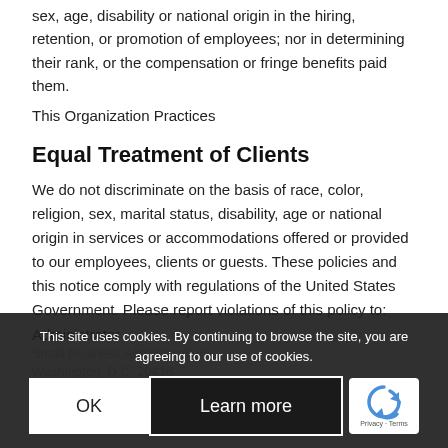sex, age, disability or national origin in the hiring, retention, or promotion of employees; nor in determining their rank, or the compensation or fringe benefits paid them.
This Organization Practices
Equal Treatment of Clients
We do not discriminate on the basis of race, color, religion, sex, marital status, disability, age or national origin in services or accommodations offered or provided to our employees, clients or guests. These policies and this notice comply with regulations of the United States Government. Please report violations of this policy to:
Administrator
Small Business Administration
Washington, D.C. 20416
Linortek Privacy Notice
Unless state... nortek is the owner of all
This site uses cookies. By continuing to browse the site, you are agreeing to our use of cookies.